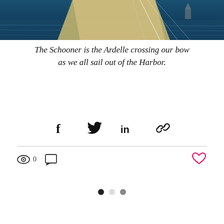[Figure (photo): Top portion of a sailing/boating scene showing part of a wooden boat deck with rigging, and water visible in the background.]
The Schooner is the Ardelle crossing our bow as we all sail out of the Harbor.
[Figure (infographic): Social share buttons: Facebook, Twitter, LinkedIn, and copy link icons.]
[Figure (infographic): Stats bar showing view count (eye icon, 0), comment icon, and a heart/like button (red outline heart icon).]
[Figure (infographic): Pagination dots: three dots — first filled black, second light gray, third medium gray.]